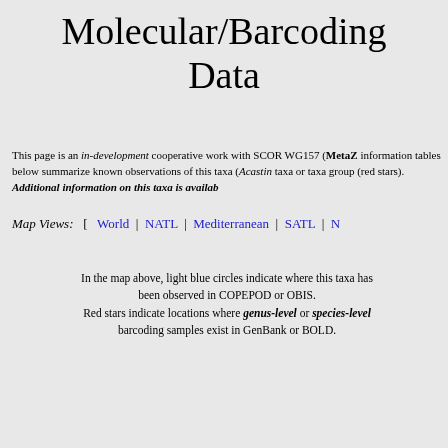Molecular/Barcoding Data
This page is an in-development cooperative work with SCOR WG157 (MetaZ... information tables below summarize known observations of this taxa (Acasting... taxa or taxa group (red stars).  Additional information on this taxa is availab...
Map Views:  [  World  |  NATL  |  Mediterranean  |  SATL  |  N...
In the map above, light blue circles indicate where this taxa has been observed in COPEPOD or OBIS. Red stars indicate locations where genus-level or species-level barcoding samples exist in GenBank or BOLD.